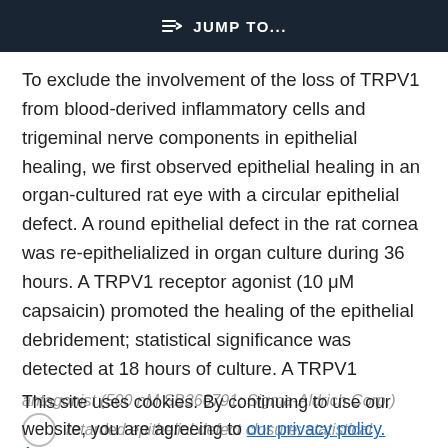⇒ JUMP TO...
To exclude the involvement of the loss of TRPV1 from blood-derived inflammatory cells and trigeminal nerve components in epithelial healing, we first observed epithelial healing in an organ-cultured rat eye with a circular epithelial defect. A round epithelial defect in the rat cornea was re-epithelialized in organ culture during 36 hours. A TRPV1 receptor agonist (10 μM capsaicin) promoted the healing of the epithelial debridement; statistical significance was detected at 18 hours of culture. A TRPV1
antagonist (500 nM SB366791; Sigma-Aldrich Corp.) retarded epithelial defect closure; statistical significance was observed at 24 hours of culture (Figs. 2a, 2b). The presence of both the agonist and
This site uses cookies. By continuing to use our website, you are agreeing to our privacy policy. Accept